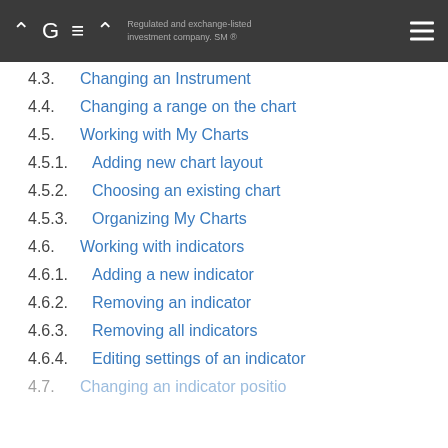AGEA — Regulated and exchange-listed investment company. SM ®
4.3.  Changing an Instrument
4.4.  Changing a range on the chart
4.5.  Working with My Charts
4.5.1.  Adding new chart layout
4.5.2.  Choosing an existing chart
4.5.3.  Organizing My Charts
4.6.  Working with indicators
4.6.1.  Adding a new indicator
4.6.2.  Removing an indicator
4.6.3.  Removing all indicators
4.6.4.  Editing settings of an indicator
4.7.  Changing an indicator position